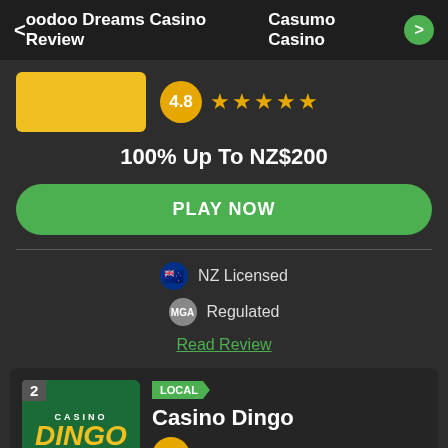oodoo Dreams Casino Review  |  Casumo Casino
[Figure (logo): Yellow casino logo placeholder]
4.8 ★★★★★
100% Up To NZ$200
PLAY NOW
NZ Licensed
Regulated
Read Review
2
[Figure (logo): Casino Dingo logo — green background with white dog silhouette, yellow DINGO text]
LOCAL
Casino Dingo
4.8 ★★★★★